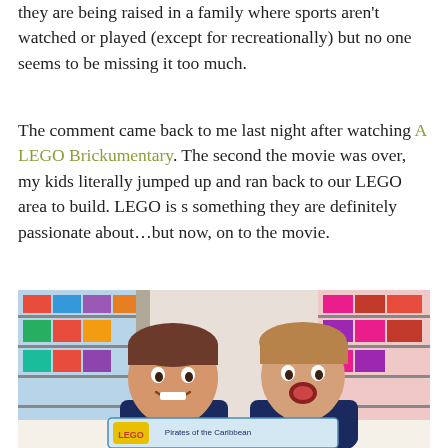they are being raised in a family where sports aren't watched or played (except for recreationally) but no one seems to be missing it too much.
The comment came back to me last night after watching A LEGO Brickumentary. The second the movie was over, my kids literally jumped up and ran back to our LEGO area to build. LEGO is s something they are definitely passionate about…but now, on to the movie.
[Figure (photo): Two children in a toy store aisle holding a LEGO Pirates of the Caribbean set box, smiling at the camera. Store shelves with colorful toy boxes visible in background.]